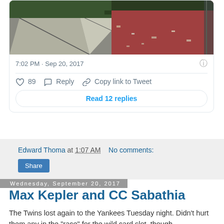[Figure (screenshot): Tweet card showing two side-by-side photos of damaged stadium/track areas, with timestamp 7:02 PM · Sep 20, 2017, 89 likes, Reply, Copy link to Tweet, and Read 12 replies button]
Edward Thoma at 1:07 AM   No comments:
Share
Wednesday, September 20, 2017
Max Kepler and CC Sabathia
The Twins lost again to the Yankees Tuesday night. Didn't hurt them any in the "race" for the wild card slot, though